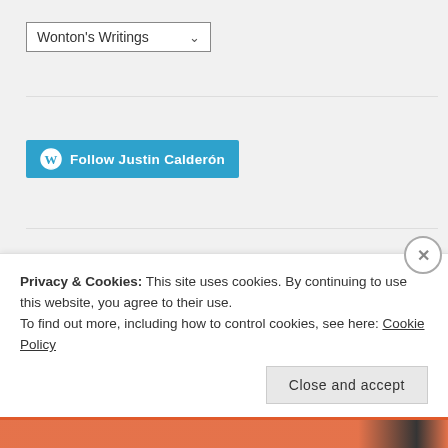[Figure (screenshot): Dropdown select box showing 'Wonton's Writings' with a chevron arrow]
[Figure (screenshot): Blue WordPress 'Follow Justin Calderón' button]
RECENT POSTS
Privacy & Cookies: This site uses cookies. By continuing to use this website, you agree to their use. To find out more, including how to control cookies, see here: Cookie Policy
Close and accept